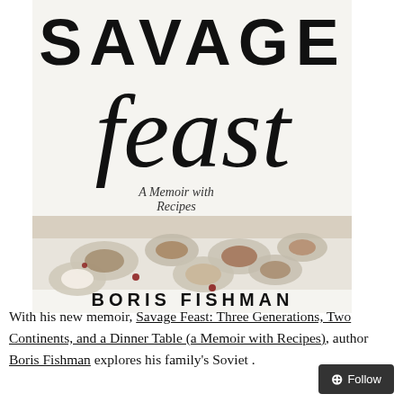[Figure (photo): Book cover of 'Savage Feast: A Memoir with Recipes' by Boris Fishman. Top portion shows bold block lettering 'SAVAGE' and large handwritten script 'feast' below it. Subtitle reads 'A Memoir with Recipes'. Center-lower portion shows a bird's-eye photograph of a table laden with multiple plates and dishes of food on a white tablecloth. Author name 'BORIS FISHMAN' appears at the bottom in bold capitals.]
With his new memoir, Savage Feast: Three Generations, Two Continents, and a Dinner Table (a Memoir with Recipes), author Boris Fishman explores his family's Soviet .